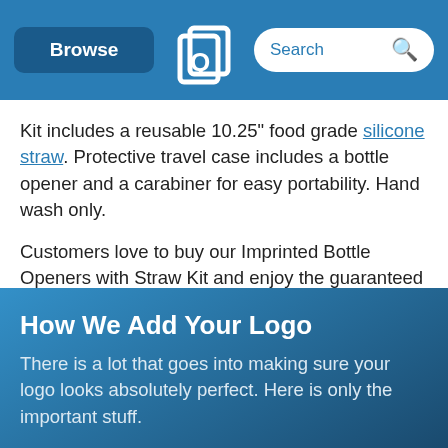Browse | Quality Logo Products | Search
Kit includes a reusable 10.25" food grade silicone straw. Protective travel case includes a bottle opener and a carabiner for easy portability. Hand wash only.
Customers love to buy our Imprinted Bottle Openers with Straw Kit and enjoy the guaranteed lowest price on Custom Straws & Personalized Straws from Quality Logo Products®
How We Add Your Logo
There is a lot that goes into making sure your logo looks absolutely perfect. Here is only the important stuff.